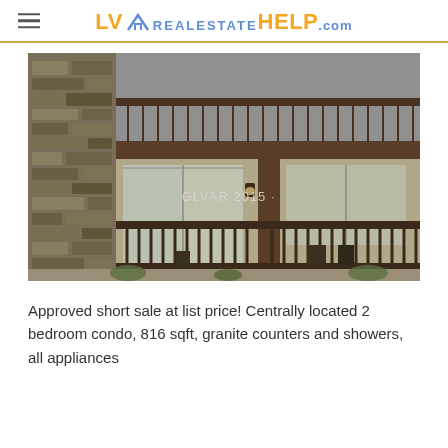LVrealestateHELP.com
[Figure (photo): Exterior photo of a condominium building showing stone facade on the left, balconies on upper floor, sliding glass doors, and metal railings with gravel landscaping in front. Watermark reads '· GLVAR 2015 ·']
Approved short sale at list price! Centrally located 2 bedroom condo, 816 sqft, granite counters and showers, all appliances